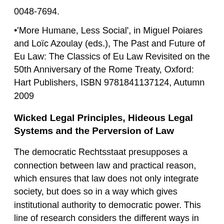0048-7694.
'More Humane, Less Social', in Miguel Poiares and Loïc Azoulay (eds.), The Past and Future of Eu Law: The Classics of Eu Law Revisited on the 50th Anniversary of the Rome Treaty, Oxford: Hart Publishers, ISBN 9781841137124, Autumn 2009
Wicked Legal Principles, Hideous Legal Systems and the Perversion of Law
The democratic Rechtsstaat presupposes a connection between law and practical reason, which ensures that law does not only integrate society, but does so in a way which gives institutional authority to democratic power. This line of research considers the different ways in which this connection may be severed, and the form of law instrumentalised for